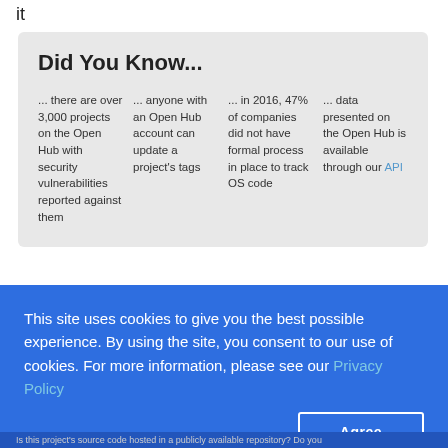it
Did You Know...
... there are over 3,000 projects on the Open Hub with security vulnerabilities reported against them
... anyone with an Open Hub account can update a project's tags
... in 2016, 47% of companies did not have formal process in place to track OS code
... data presented on the Open Hub is available through our API
This site uses cookies to give you the best possible experience. By using the site, you consent to our use of cookies. For more information, please see our Privacy Policy
Is this project's source code hosted in a publicly available repository? Do you